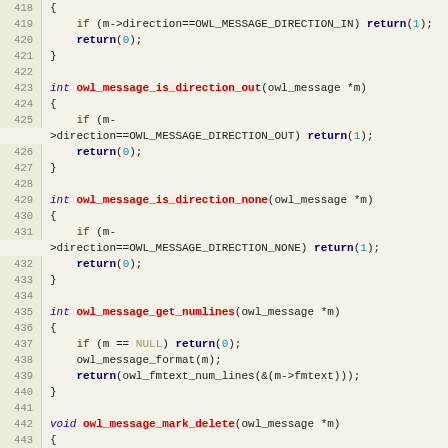[Figure (screenshot): Source code listing in C showing functions owl_message_is_direction_out, owl_message_is_direction_none, owl_message_get_numlines, and owl_message_mark_delete, with line numbers 418-448 on a beige/tan background with syntax highlighting.]